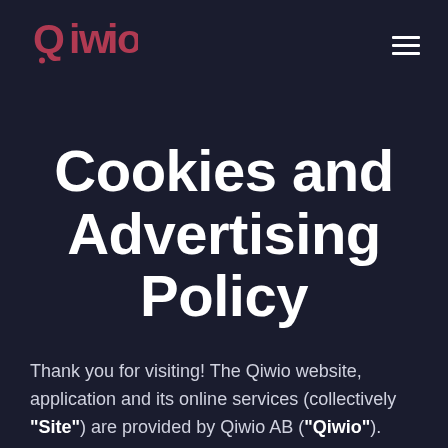[Figure (logo): Qiwio logo in dark rose/red color with stylized lettering]
Cookies and Advertising Policy
Thank you for visiting! The Qiwio website, application and its online services (collectively "Site") are provided by Qiwio AB ("Qiwio"). This